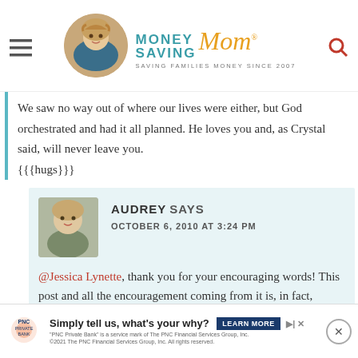[Figure (logo): Money Saving Mom website header with circular avatar photo, hamburger menu icon, logo text 'MONEY SAVING Mom' in teal and gold, tagline 'SAVING FAMILIES MONEY SINCE 2007', and red search icon]
We saw no way out of where our lives were either, but God orchestrated and had it all planned. He loves you and, as Crystal said, will never leave you. {{{hugs}}}
[Figure (photo): Small circular/square avatar photo of Audrey, a young blonde woman smiling]
AUDREY SAYS
OCTOBER 6, 2010 AT 3:24 PM
@Jessica Lynette, thank you for your encouraging words! This post and all the encouragement coming from it is, in fact, straight from the Lord! I feel so encouraged by all this. I'm just overwhelmed with God's love and reminded of His promise to provide all we need!
[Figure (screenshot): PNC Private Bank advertisement banner: 'Simply tell us, what's your why?' with LEARN MORE button and fine print about PNC Financial Services Group]